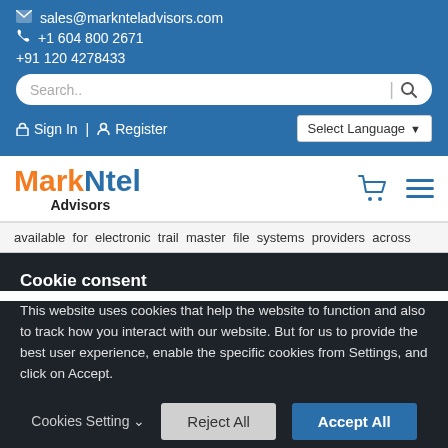sales@marknteladvisors.com | +1 604 800 2671 | +91 120 4278433
Sign In | Register | Select Language
[Figure (logo): MarkNtel Advisors logo with orange and blue text]
available for electronic trail master file systems providers across
Cookie consent
This website uses cookies that help the website to function and also to track how you interact with our website. But for us to provide the best user experience, enable the specific cookies from Settings, and click on Accept.
Cookies Setting ∨ | Reject All | Accept All